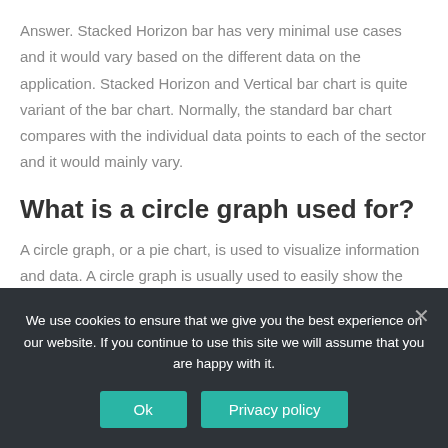Answer. Stacked Horizon bar has very minimal use cases and it would vary based on the different data on the application. Stacked Horizon and Vertical bar chart is quite variant of the bar chart. Normally, the standard bar chart compares with the individual data points to each of the sector and it would mainly vary.
What is a circle graph used for?
A circle graph, or a pie chart, is used to visualize information and data. A circle graph is usually used to easily show the results of an investigation
We use cookies to ensure that we give you the best experience on our website. If you continue to use this site we will assume that you are happy with it.